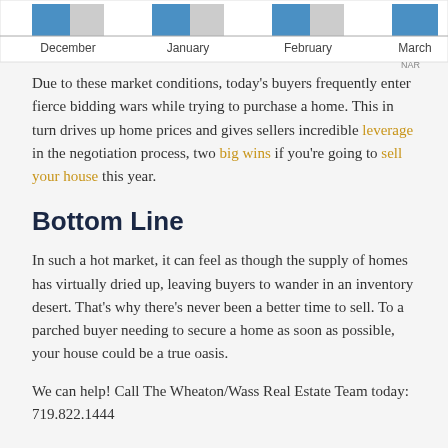[Figure (bar-chart): Partial bar chart showing months December, January, February, March with blue and gray bars. NAR source label visible.]
Due to these market conditions, today's buyers frequently enter fierce bidding wars while trying to purchase a home. This in turn drives up home prices and gives sellers incredible leverage in the negotiation process, two big wins if you're going to sell your house this year.
Bottom Line
In such a hot market, it can feel as though the supply of homes has virtually dried up, leaving buyers to wander in an inventory desert. That's why there's never been a better time to sell. To a parched buyer needing to secure a home as soon as possible, your house could be a true oasis.
We can help! Call The Wheaton/Wass Real Estate Team today: 719.822.1444